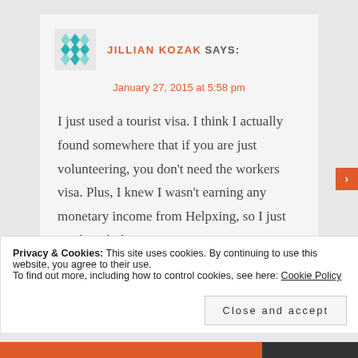JILLIAN KOZAK SAYS:
January 27, 2015 at 5:58 pm
I just used a tourist visa. I think I actually found somewhere that if you are just volunteering, you don't need the workers visa. Plus, I knew I wasn't earning any monetary income from Helpxing, so I just stuck with the tourist visa.
Privacy & Cookies: This site uses cookies. By continuing to use this website, you agree to their use. To find out more, including how to control cookies, see here: Cookie Policy
Close and accept